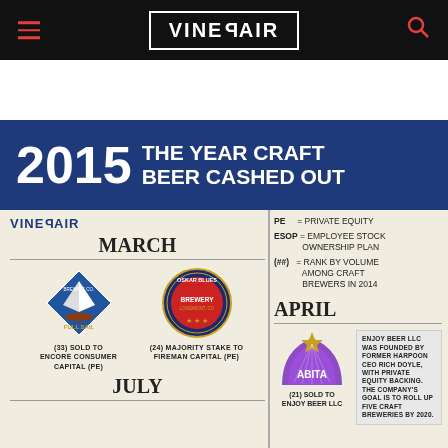VINEPAIR (navigation header with logo, hamburger menu, and search icon)
2015 THE YEAR CRAFT BEER CASHED OUT
[Figure (logo): VinePair logo in dark blue/navy]
MARCH
[Figure (logo): Full Sail Brewing Co. diamond-shaped logo]
(33) SOLD TO ENCORE CONSUMER CAPITAL (PE)
[Figure (logo): Oskar Blues Brewery circular logo]
(24) MAJORITY STAKE TO FIREMAN CAPITAL (PE)
PE = PRIVATE EQUITY
ESOP = EMPLOYEE STOCK OWNERSHIP PLAN
(##) = RANK BY VOLUME AMONG CRAFT BREWERS IN 2014
APRIL
[Figure (logo): Abita Brewing Company logo with purple arch design]
(21) SOLD TO ENJOY BEER LLC
ENJOY BEER LLC WAS FOUNDED BY FORMER HARPOON CEO RICH DOYLE, WITH PRIVATE EQUITY BACKING. THE COMPANY'S GOAL IS TO ROLL UP FIVE CRAFT BREWERIES BY 2020.
JULY